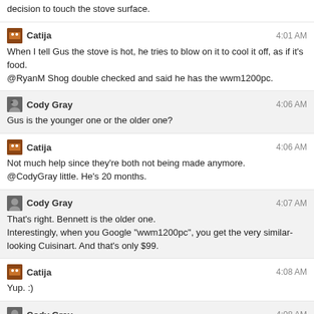decision to touch the stove surface.
Catija 4:01 AM
When I tell Gus the stove is hot, he tries to blow on it to cool it off, as if it's food.
@RyanM Shog double checked and said he has the wwm1200pc.
Cody Gray 4:06 AM
Gus is the younger one or the older one?
Catija 4:06 AM
Not much help since they're both not being made anymore.
@CodyGray little. He's 20 months.
Cody Gray 4:07 AM
That's right. Bennett is the older one.
Interestingly, when you Google "wwm1200pc", you get the very similar-looking Cuisinart. And that's only $99.
Catija 4:08 AM
Yup. :)
Cody Gray 4:08 AM
Which is about what you'd pay for a used Waring Pro on eBay or elsewhere.
I suspect that the Cuisinart is the consumer-level replacement. It looks similar to me. The only concern might be build quality. But honestly, how hard are you going to be on a waffle maker?
Catija 4:11 AM